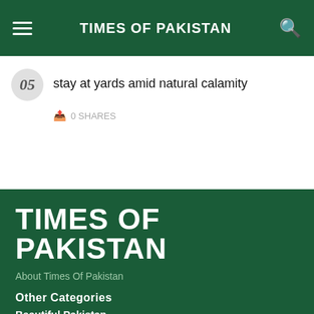TIMES OF PAKISTAN
stay at yards amid natural calamity
0 SHARES
TIMES OF PAKISTAN
About Times Of Pakistan
Other Categories
Beautiful Pakistan